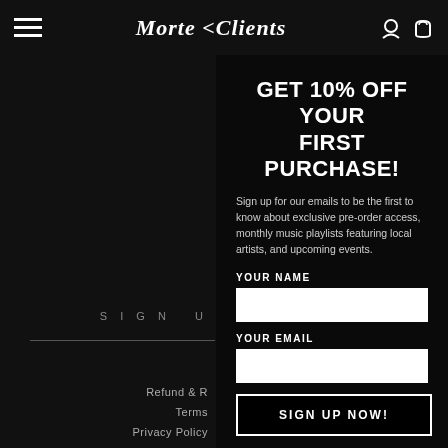Morte Clients — navigation header with hamburger menu, logo, and icons
GET 10% OFF YOUR FIRST PURCHASE!
Sign up for our emails to be the first to know about exclusive pre-order access, monthly music playlists featuring local artists, and upcoming events.
YOUR NAME
YOUR EMAIL
SIGN UP NOW!
SIGN U
Refund &
Terms
Privacy Policy